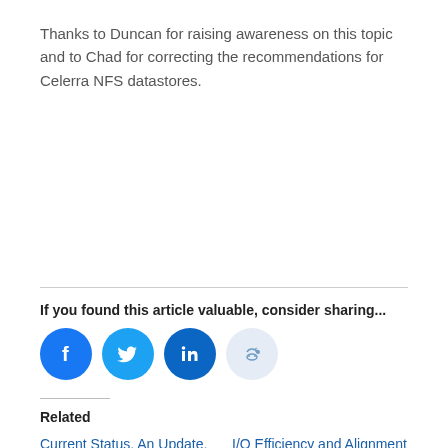Thanks to Duncan for raising awareness on this topic and to Chad for correcting the recommendations for Celerra NFS datastores.
If you found this article valuable, consider sharing...
[Figure (infographic): Four social sharing icons: Facebook (blue circle), Twitter (blue circle), LinkedIn (dark blue circle), Reddit (light blue circle)]
Related
Current Status, An Update, and a Look to the Future of Alignment
April 8, 2011
In "Alignment"
I/O Efficiency and Alignment – the Cloud Demands Standards
June 18, 2009
In "Alignment"